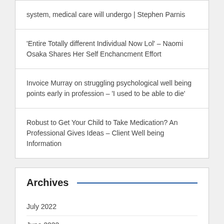system, medical care will undergo | Stephen Parnis
'Entire Totally different Individual Now Lol' – Naomi Osaka Shares Her Self Enchancment Effort
Invoice Murray on struggling psychological well being points early in profession – 'I used to be able to die'
Robust to Get Your Child to Take Medication? An Professional Gives Ideas – Client Well being Information
Archives
July 2022
June 2022
May 2022
April 2022